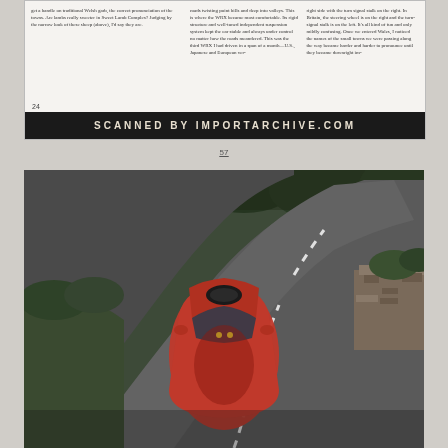get a handle on traditional Welsh garb, the correct pronunciation of the towns. Are lambs really sweeter in Sweet Lamb Complex? Judging by the narrow look of these sheep (above), I'd say they are.
roads twisting point hills and deep into valleys. This is where the WRX became most comfortable. Its rigid structure and well-tuned independent suspension system kept the car stable and always under control no matter how the roads meandered. This was the third WRX I had driven in a span of a month—U.S., Japanese and European ver-
right side with the turn signal stalk on the right. In Britain, the steering wheel is on the right and the turn-signal stalk is on the left. It's all kind of fun and only mildly confusing. Once we entered Wales, I noticed the names of the small towns we were passing along the way became harder and harder to pronounce until they became downright im-
24
SCANNED BY IMPORTARCHIVE.COM
57
[Figure (photo): Aerial/overhead view of a red Subaru WRX driving on a winding narrow road in Wales, surrounded by green trees and stone walls. The road curves to the right. The car is seen from above with its distinctive hood scoop visible.]